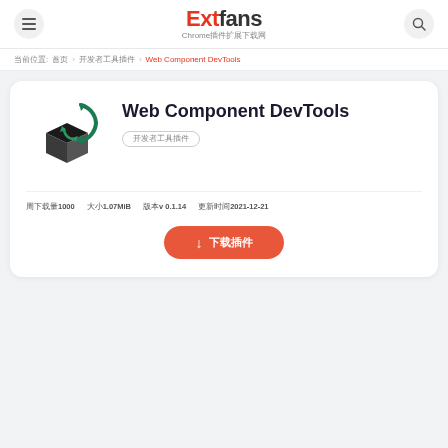Extfans Chrome插件扩展下载网
当前位置: 首页 › 开发者工具插件 › Web Component DevTools
Web Component DevTools
开发者工具插件
周下载量1000  大小1.07MiB  版本v 0.1.14  更新时间2021-12-21
↓ 下载插件